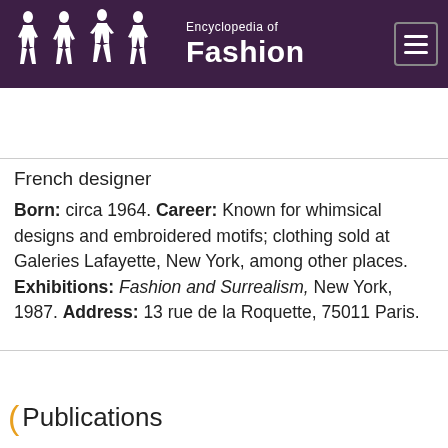Encyclopedia of Fashion
French designer
Born: circa 1964. Career: Known for whimsical designs and embroidered motifs; clothing sold at Galeries Lafayette, New York, among other places. Exhibitions: Fashion and Surrealism, New York, 1987. Address: 13 rue de la Roquette, 75011 Paris.
Publications